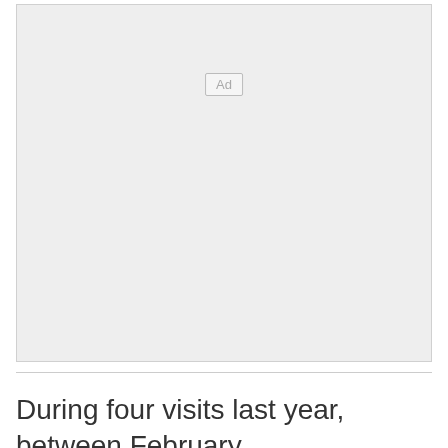[Figure (other): Advertisement placeholder box with 'Ad' label in center]
During four visits last year, between February